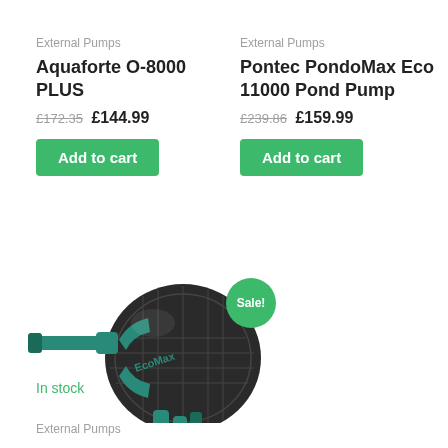External Pumps
Aquaforte O-8000 PLUS
£172.35 £144.99
Add to cart
External Pumps
Pontec PondoMax Eco 11000 Pond Pump
£239.86 £159.99
Add to cart
[Figure (photo): EcoMax pond pump product photo, a spherical dark pump with teal fittings, with a green 'Sale!' badge]
In stock
External Pumps